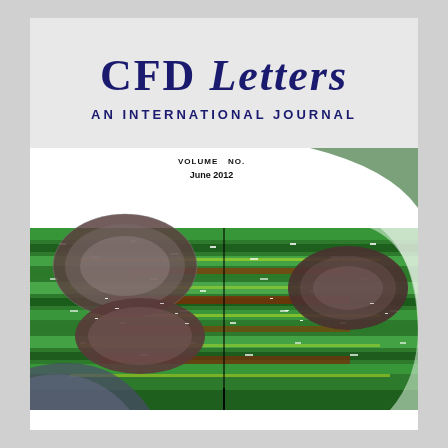CFD Letters an International Journal
Volume ... No. ...
June 2012
[Figure (photo): CFD simulation visualization showing flow around pipe/tube geometries with colorful particle traces in green, red/brown and white colors indicating fluid flow patterns around cylindrical obstacles]